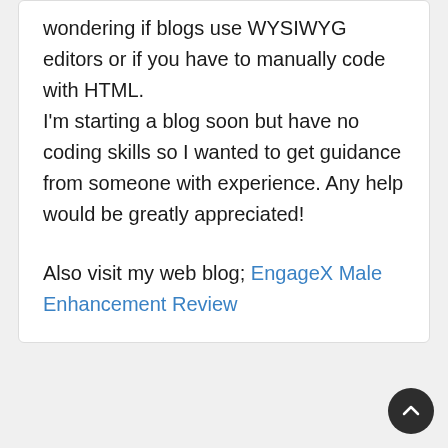wondering if blogs use WYSIWYG editors or if you have to manually code with HTML. I'm starting a blog soon but have no coding skills so I wanted to get guidance from someone with experience. Any help would be greatly appreciated!
Also visit my web blog; EngageX Male Enhancement Review
Natural Burn Keto Ingredients 말: 2021년9월10일 8:09 PM
Would love to incessantly get updated great web sito!